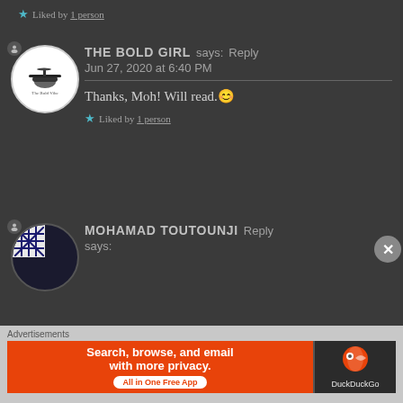★ Liked by 1 person
THE BOLD GIRL says: Reply
Jun 27, 2020 at 6:40 PM
Thanks, Moh! Will read.😊
★ Liked by 1 person
MOHAMAD TOUTOUNJI says:
Advertisements
[Figure (screenshot): DuckDuckGo advertisement banner: orange section with 'Search, browse, and email with more privacy. All in One Free App' and dark section with DuckDuckGo logo]